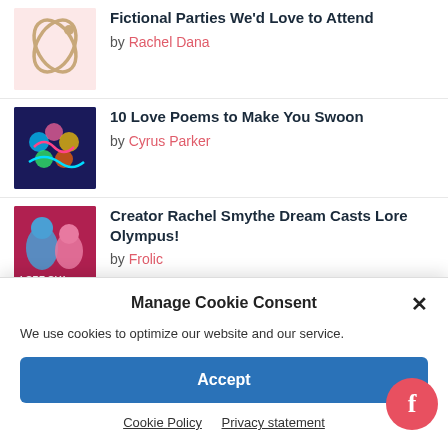Fictional Parties We'd Love to Attend by Rachel Dana
10 Love Poems to Make You Swoon by Cyrus Parker
Creator Rachel Smythe Dream Casts Lore Olympus! by Frolic
Manage Cookie Consent
We use cookies to optimize our website and our service.
Accept
Cookie Policy   Privacy statement